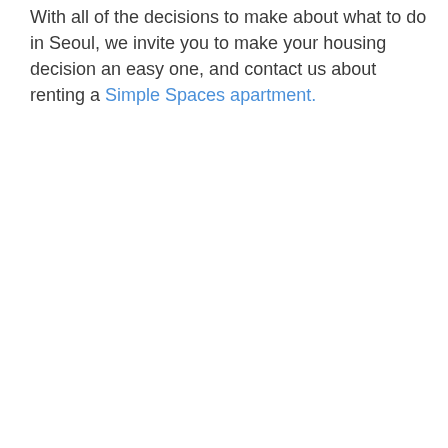With all of the decisions to make about what to do in Seoul, we invite you to make your housing decision an easy one, and contact us about renting a Simple Spaces apartment.